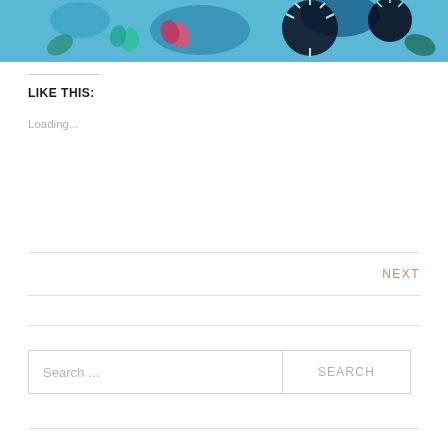[Figure (illustration): Colorful abstract floral/botanical artwork with blue background, teal and red heart shapes, dark flowers with green starburst details]
LIKE THIS:
Loading...
NEXT
Search …
SEARCH